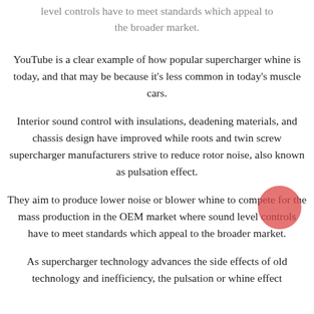level controls have to meet standards which appeal to the broader market.
YouTube is a clear example of how popular supercharger whine is today, and that may be because it's less common in today's muscle cars.
Interior sound control with insulations, deadening materials, and chassis design have improved while roots and twin screw supercharger manufacturers strive to reduce rotor noise, also known as pulsation effect.
They aim to produce lower noise or blower whine to compete for the mass production in the OEM market where sound level controls have to meet standards which appeal to the broader market.
As supercharger technology advances the side effects of old technology and inefficiency, the pulsation or whine effect